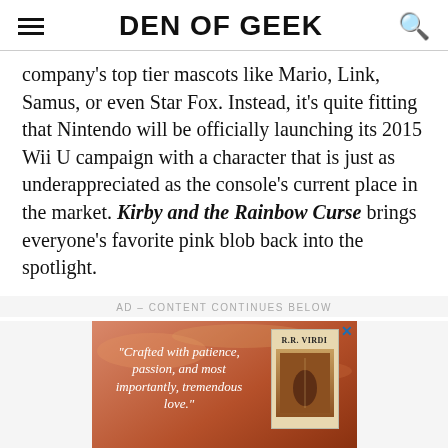DEN OF GEEK
company's top tier mascots like Mario, Link, Samus, or even Star Fox. Instead, it's quite fitting that Nintendo will be officially launching its 2015 Wii U campaign with a character that is just as underappreciated as the console's current place in the market. Kirby and the Rainbow Curse brings everyone's favorite pink blob back into the spotlight.
AD – CONTENT CONTINUES BELOW
[Figure (photo): Advertisement for 'The First Binding' by R.R. Virdi. Shows a book cover with fantasy artwork and a quote: 'Crafted with patience, passion, and most importantly, tremendous love.' Bottom bar shows the book title 'THE FIRST BINDING' and author 'R.R. VIRDI' with a Buy Now badge and FT08 label.]